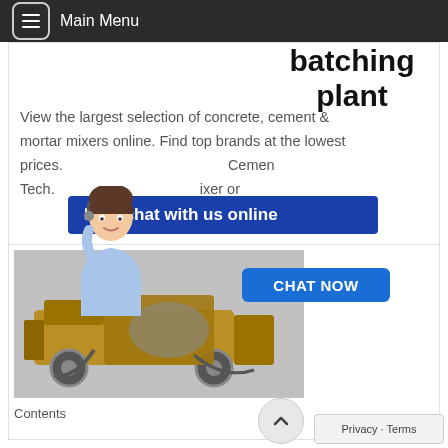Main Menu
batching plant
View the largest selection of concrete, cement & mortar mixers online. Find top brands at the lowest prices. ... Cemen Tech. ... ixer or
[Figure (illustration): Blue banner overlay with text 'Free chat with us online' and a customer service avatar illustration of a woman with headset]
[Figure (photo): Photo of a concrete mixer / batching equipment machine in gold/yellow color]
crete Mixer Paddle – Timeless Tile
Contents